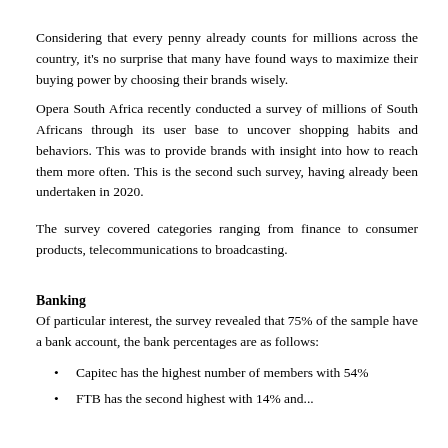Considering that every penny already counts for millions across the country, it’s no surprise that many have found ways to maximize their buying power by choosing their brands wisely.
Opera South Africa recently conducted a survey of millions of South Africans through its user base to uncover shopping habits and behaviors. This was to provide brands with insight into how to reach them more often. This is the second such survey, having already been undertaken in 2020.
The survey covered categories ranging from finance to consumer products, telecommunications to broadcasting.
Banking
Of particular interest, the survey revealed that 75% of the sample have a bank account, the bank percentages are as follows:
Capitec has the highest number of members with 54%
FTB has the second highest with 14% and...